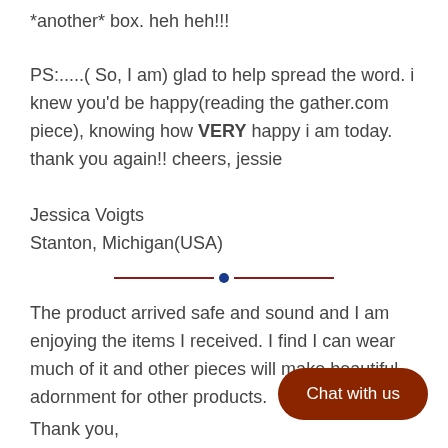*another* box. heh heh!!!
PS:.....( So, I am) glad to help spread the word. i knew you'd be happy(reading the gather.com piece), knowing how VERY happy i am today. thank you again!! cheers, jessie
Jessica Voigts
Stanton, Michigan(USA)
[Figure (other): Horizontal decorative divider with dark red lines and a dark blue circle in the center]
The product arrived safe and sound and I am enjoying the items I received. I find I can wear much of it and other pieces will make beautiful adornment for other products.
Thank you,